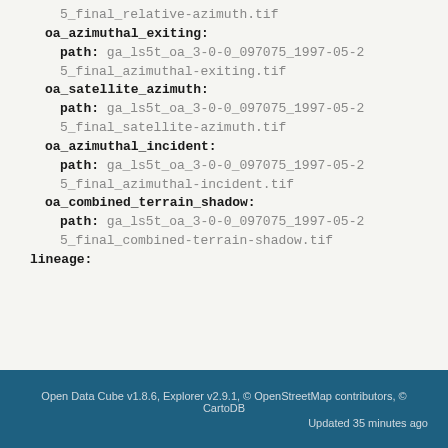5_final_relative-azimuth.tif
oa_azimuthal_exiting:
  path: ga_ls5t_oa_3-0-0_097075_1997-05-25_final_azimuthal-exiting.tif
oa_satellite_azimuth:
  path: ga_ls5t_oa_3-0-0_097075_1997-05-25_final_satellite-azimuth.tif
oa_azimuthal_incident:
  path: ga_ls5t_oa_3-0-0_097075_1997-05-25_final_azimuthal-incident.tif
oa_combined_terrain_shadow:
  path: ga_ls5t_oa_3-0-0_097075_1997-05-25_final_combined-terrain-shadow.tif
lineage:
Open Data Cube v1.8.6, Explorer v2.9.1, © OpenStreetMap contributors, © CartoDB
Updated 35 minutes ago